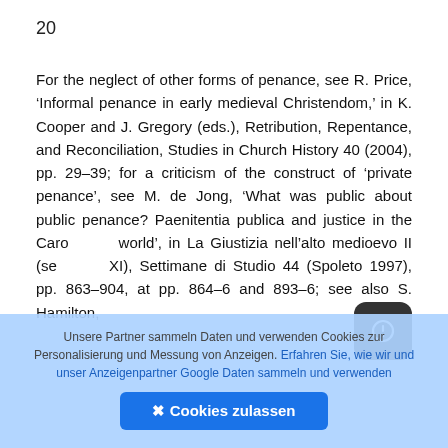20
For the neglect of other forms of penance, see R. Price, ‘Informal penance in early medieval Christendom,’ in K. Cooper and J. Gregory (eds.), Retribution, Repentance, and Reconciliation, Studies in Church History 40 (2004), pp. 29–39; for a criticism of the construct of ‘private penance’, see M. de Jong, ‘What was public about public penance? Paenitentia publica and justice in the Carolingian world’, in La Giustizia nell’alto medioevo II (secoli IX–XI), Settimane di Studio 44 (Spoleto 1997), pp. 863–904, at pp. 864–6 and 893–6; see also S. Hamilton,